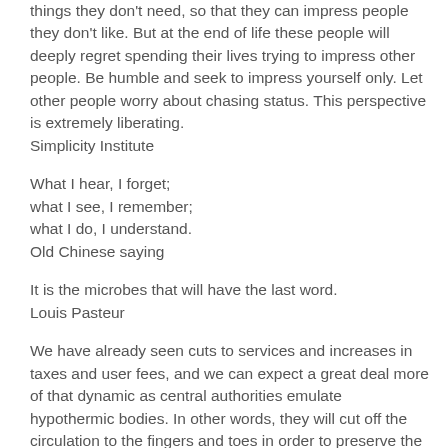things they don't need, so that they can impress people they don't like. But at the end of life these people will deeply regret spending their lives trying to impress other people. Be humble and seek to impress yourself only. Let other people worry about chasing status. This perspective is extremely liberating.
Simplicity Institute
What I hear, I forget;
what I see, I remember;
what I do, I understand.
Old Chinese saying
It is the microbes that will have the last word.
Louis Pasteur
We have already seen cuts to services and increases in taxes and user fees, and we can expect a great deal more of that dynamic as central authorities emulate hypothermic bodies. In other words, they will cut off the circulation to the fingers and toes in order to preserve the core. This is of course, a survival strategy, from the point of view of the core. But it does nothing good for the prospects of ordinary people who represent the fingers...